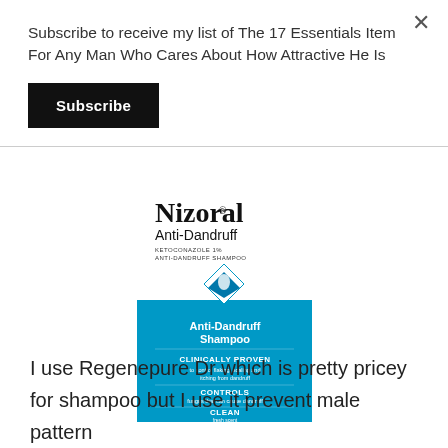Subscribe to receive my list of The 17 Essentials Item For Any Man Who Cares About How Attractive He Is
Subscribe
[Figure (photo): Nizoral Anti-Dandruff Ketoconazole 1% Anti-Dandruff Shampoo product box, 7 fl oz (200mL). Blue and white packaging showing diamond logo, text: Anti-Dandruff Shampoo, Clinically Proven to control flaking, scaling and itching from dandruff, Controls fungus that can cause dandruff, Clean fresh scent.]
I use Regenepure Dr which is pretty pricey for shampoo but I use it prevent male pattern